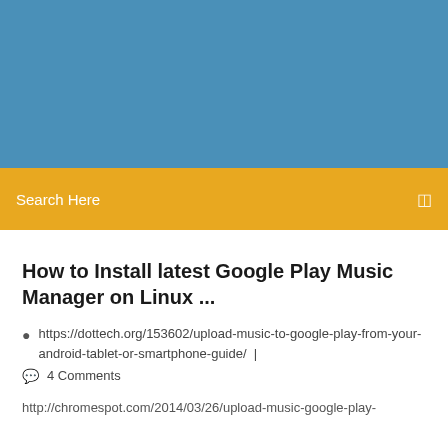[Figure (other): Blue gradient header banner area]
Search Here
How to Install latest Google Play Music Manager on Linux ...
https://dottech.org/153602/upload-music-to-google-play-from-your-android-tablet-or-smartphone-guide/  |  4 Comments
http://chromespot.com/2014/03/26/upload-music-google-play-